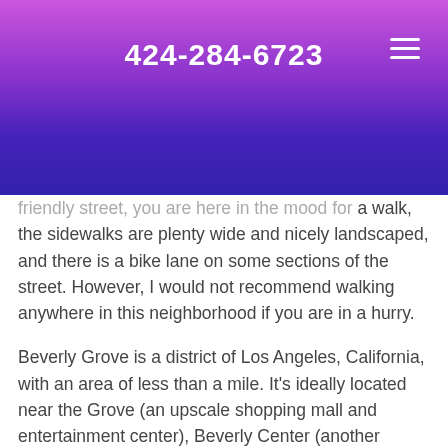424-284-6723
...friendly street, you are here in the mood for a walk, the sidewalks are plenty wide and nicely landscaped, and there is a bike lane on some sections of the street. However, I would not recommend walking anywhere in this neighborhood if you are in a hurry.
Beverly Grove is a district of Los Angeles, California, with an area of less than a mile. It's ideally located near the Grove (an upscale shopping mall and entertainment center), Beverly Center (another shopping mall), Los Angeles Country Club (which has a golf course), and Cedars-Sinai Medical Center (a hospital). It